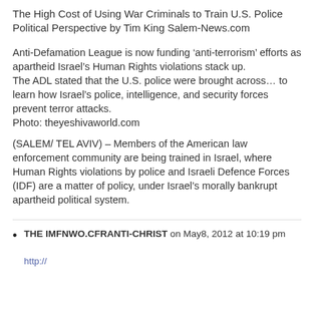The High Cost of Using War Criminals to Train U.S. Police Political Perspective by Tim King Salem-News.com
Anti-Defamation League is now funding ‘anti-terrorism’ efforts as apartheid Israel’s Human Rights violations stack up.
The ADL stated that the U.S. police were brought across… to learn how Israel’s police, intelligence, and security forces prevent terror attacks.
Photo: theyeshivaworld.com
(SALEM/ TEL AVIV) – Members of the American law enforcement community are being trained in Israel, where Human Rights violations by police and Israeli Defence Forces (IDF) are a matter of policy, under Israel’s morally bankrupt apartheid political system.
THE IMFNWO.CFRANTI-CHRIST on May8, 2012 at 10:19 pm